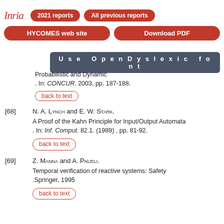Inria — 2021 reports | All previous reports | HYCOMES web site | Download PDF | Use OpenDyslexic font
Probabilistic and Dynamic. In: CONCUR. 2003, pp. 187-188.
back to text
[68] N. A. Lynch and E. W. Stark. A Proof of the Kahn Principle for Input/Output Automata. In: Inf. Comput. 82.1. (1989), pp. 81-92.
back to text
[69] Z. Manna and A. Pnueli. Temporal verification of reactive systems: Safety. Springer, 1995
back to text